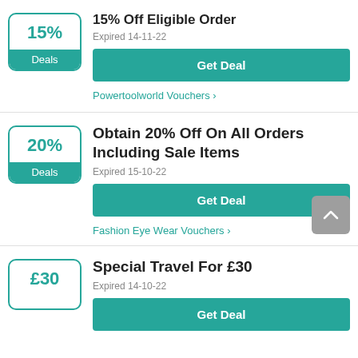15% Off Eligible Order
Expired 14-11-22
Get Deal
Powertoolworld Vouchers
Obtain 20% Off On All Orders Including Sale Items
Expired 15-10-22
Get Deal
Fashion Eye Wear Vouchers
Special Travel For £30
Expired 14-10-22
Get Deal